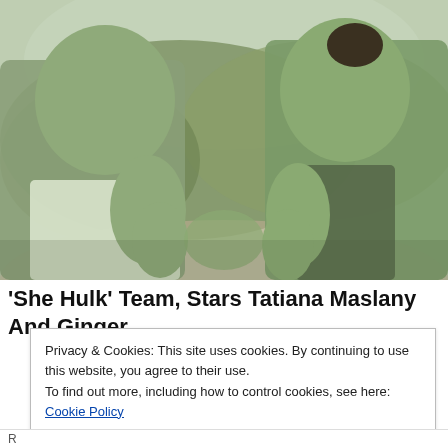[Figure (photo): Two large green-skinned figures (She-Hulk characters) facing each other with palms pressed together, outdoors with trees in background. Left figure is male in white tank top, right figure is female with dark hair in bun.]
'She Hulk' Team, Stars Tatiana Maslany And Ginger
Privacy & Cookies: This site uses cookies. By continuing to use this website, you agree to their use.
To find out more, including how to control cookies, see here: Cookie Policy
Close and accept